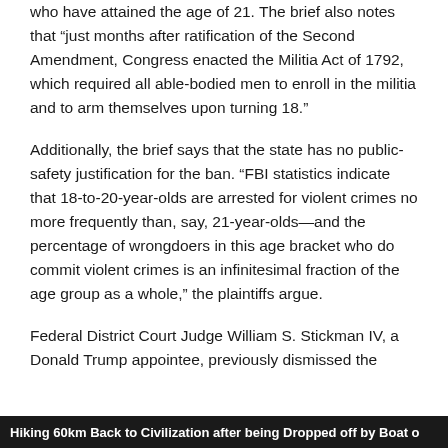who have attained the age of 21. The brief also notes that “just months after ratification of the Second Amendment, Congress enacted the Militia Act of 1792, which required all able-bodied men to enroll in the militia and to arm themselves upon turning 18.”
Additionally, the brief says that the state has no public-safety justification for the ban. “FBI statistics indicate that 18-to-20-year-olds are arrested for violent crimes no more frequently than, say, 21-year-olds—and the percentage of wrongdoers in this age bracket who do commit violent crimes is an infinitesimal fraction of the age group as a whole,” the plaintiffs argue.
Federal District Court Judge William S. Stickman IV, a Donald Trump appointee, previously dismissed the
Hiking 60km Back to Civilization after being Dropped off by Boat o